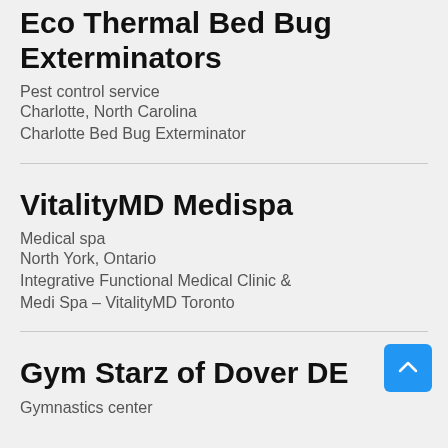Eco Thermal Bed Bug Exterminators
Pest control service
Charlotte, North Carolina
Charlotte Bed Bug Exterminator
VitalityMD Medispa
Medical spa
North York, Ontario
Integrative Functional Medical Clinic & Medi Spa – VitalityMD Toronto
Gym Starz of Dover DE
Gymnastics center